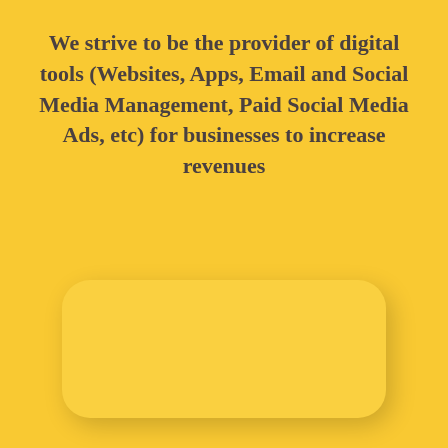We strive to be the provider of digital tools (Websites, Apps, Email and Social Media Management, Paid Social Media Ads, etc) for businesses to increase revenues
[Figure (illustration): A rounded rectangle card element with a slightly lighter yellow fill and a drop shadow, positioned in the lower portion of the page against the golden yellow background.]